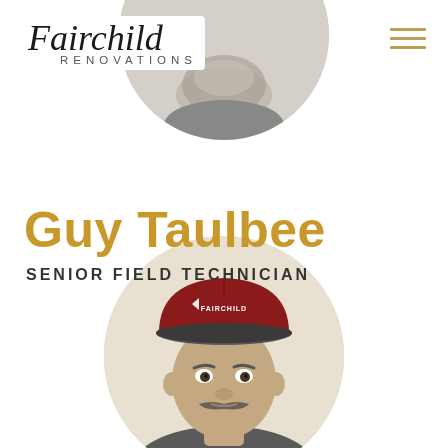[Figure (logo): Fairchild Renovations logo with script 'Fairchild' text and 'RENOVATIONS' subtitle]
[Figure (photo): Partial circular portrait photo of a person, showing bottom of chin/beard area, cropped at top of page]
[Figure (infographic): Hamburger menu icon with three horizontal gold/tan lines in upper right corner]
Guy Taulbee
SENIOR FIELD TECHNICIAN
[Figure (photo): Circular portrait photo of Guy Taulbee, a man with a mustache wearing a dark red Fairchild branded baseball cap]